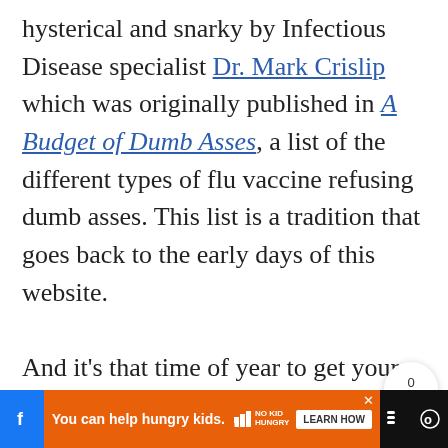hysterical and snarky by Infectious Disease specialist Dr. Mark Crislip which was originally published in A Budget of Dumb Asses, a list of the different types of flu vaccine refusing dumb asses. This list is a tradition that goes back to the early days of this website.

And it's that time of year to get your flu vaccine, so I resurrect this fine piece of
[Figure (other): Share widget showing count 0 and a share icon, positioned on the right side of the page]
[Figure (other): Bottom advertisement bar: social media icons on left, orange No Kid Hungry ad in center with 'You can help hungry kids.' text and LEARN HOW button, close button, additional icons on right]